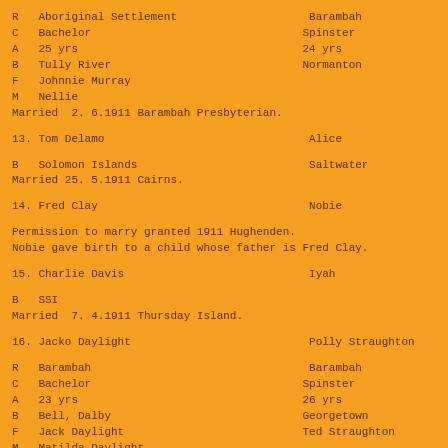R   Aboriginal Settlement                    Barambah
C   Bachelor                                Spinster
A   25 yrs                                  24 yrs
B   Tully River                             Normanton
F   Johnnie Murray
M   Nellie
Married  2. 6.1911 Barambah Presbyterian.
13. Tom Delamo                               Alice
B   Solomon Islands                          Saltwater
Married 25. 5.1911 Cairns.
14. Fred Clay                                Nobie
Permission to marry granted 1911 Hughenden.
Nobie gave birth to a child whose father is Fred Clay.
15. Charlie Davis                            Iyah
B   SSI
Married  7. 4.1911 Thursday Island.
16. Jacko Daylight                           Polly Straughton
R   Barambah                                 Barambah
C   Bachelor                                Spinster
A   23 yrs                                  26 yrs
B   Bell, Dalby                             Georgetown
F   Jack Daylight                           Ted Straughton
M   Matilda Daylight